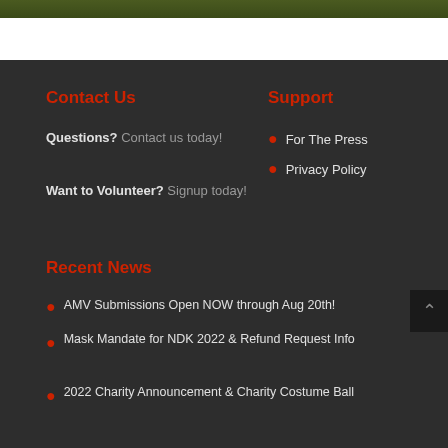[Figure (photo): Partial green banner image at top of page]
Contact Us
Questions? Contact us today!
Support
For The Press
Privacy Policy
Want to Volunteer? Signup today!
Recent News
AMV Submissions Open NOW through Aug 20th!
Mask Mandate for NDK 2022 & Refund Request Info
2022 Charity Announcement & Charity Costume Ball